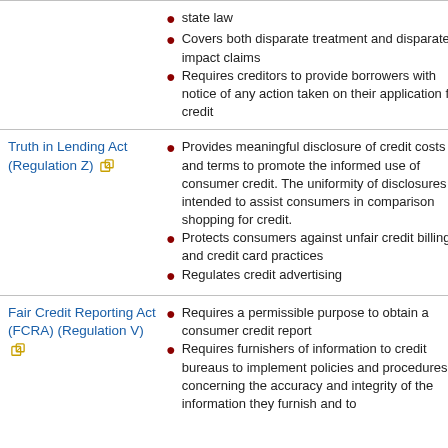state law
Covers both disparate treatment and disparate impact claims
Requires creditors to provide borrowers with notice of any action taken on their application for credit
Truth in Lending Act (Regulation Z)
Provides meaningful disclosure of credit costs and terms to promote the informed use of consumer credit. The uniformity of disclosures is intended to assist consumers in comparison shopping for credit.
Protects consumers against unfair credit billing and credit card practices
Regulates credit advertising
Fair Credit Reporting Act (FCRA) (Regulation V)
Requires a permissible purpose to obtain a consumer credit report
Requires furnishers of information to credit bureaus to implement policies and procedures concerning the accuracy and integrity of the information they furnish and to